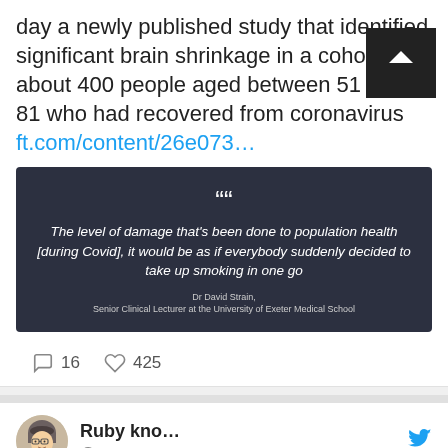day a newly published study that identified significant brain shrinkage in a cohort of about 400 people aged between 51 and 81 who had recovered from coronavirus ft.com/content/26e073…
[Figure (screenshot): Dark quote card with white text: 'The level of damage that's been done to population health [during Covid], it would be as if everybody suddenly decided to take up smoking in one go' attributed to Dr David Strain, Senior Clinical Lecturer at the University of Exeter Medical School]
16 comments, 425 likes
Ruby kno… @R… · 36m
Excluding jurors who don't believe in the death penalty makes juries much less fair!